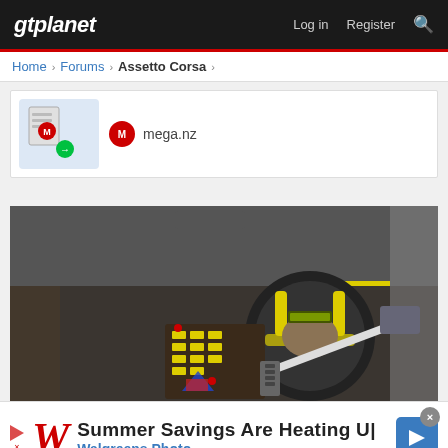gtplanet — Log in  Register
Home > Forums > Assetto Corsa >
[Figure (screenshot): Mega.nz link card showing document/file icon with Mega logo and text 'mega.nz']
[Figure (photo): Assetto Corsa game screenshot showing a racing car interior cockpit view with steering wheel, dashboard switches, and pedals]
[Figure (screenshot): Advertisement banner: Walgreens Photo - Summer Savings Are Heating Up, with Walgreens W logo and navigation arrow]